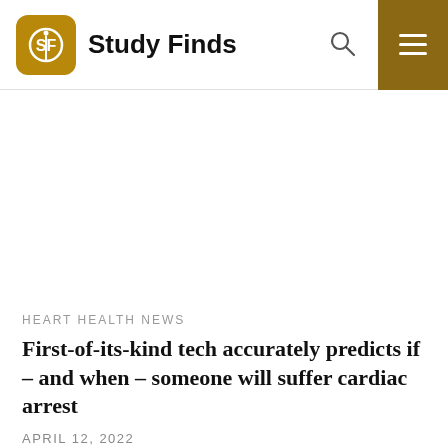Study Finds
HEART HEALTH NEWS
First-of-its-kind tech accurately predicts if – and when – someone will suffer cardiac arrest
APRIL 12, 2022